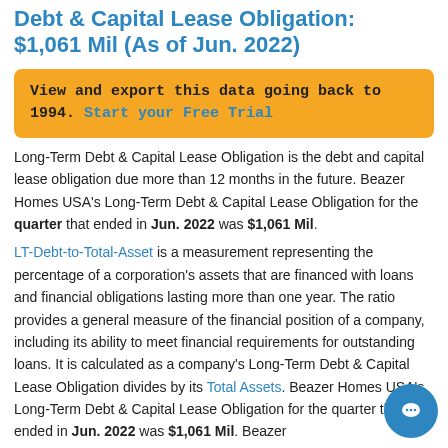Debt & Capital Lease Obligation: $1,061 Mil (As of Jun. 2022)
View and export this data going back to 1994. Start your Free Trial
Long-Term Debt & Capital Lease Obligation is the debt and capital lease obligation due more than 12 months in the future. Beazer Homes USA's Long-Term Debt & Capital Lease Obligation for the quarter that ended in Jun. 2022 was $1,061 Mil.
LT-Debt-to-Total-Asset is a measurement representing the percentage of a corporation's assets that are financed with loans and financial obligations lasting more than one year. The ratio provides a general measure of the financial position of a company, including its ability to meet financial requirements for outstanding loans. It is calculated as a company's Long-Term Debt & Capital Lease Obligation divides by its Total Assets. Beazer Homes USA's Long-Term Debt & Capital Lease Obligation for the quarter that ended in Jun. 2022 was $1,061 Mil. Beazer